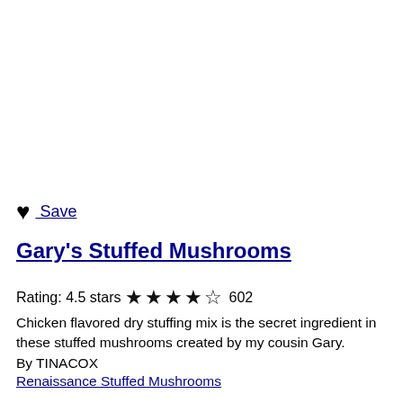♥  Save
Gary's Stuffed Mushrooms
Rating: 4.5 stars ★★★★½ 602
Chicken flavored dry stuffing mix is the secret ingredient in these stuffed mushrooms created by my cousin Gary.
By TINACOX
Renaissance Stuffed Mushrooms